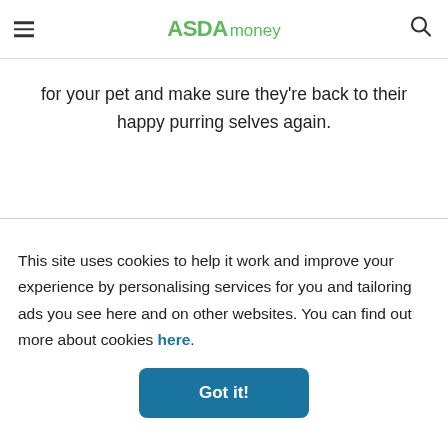ASDA money
for your pet and make sure they're back to their happy purring selves again.
This site uses cookies to help it work and improve your experience by personalising services for you and tailoring ads you see here and on other websites. You can find out more about cookies here.